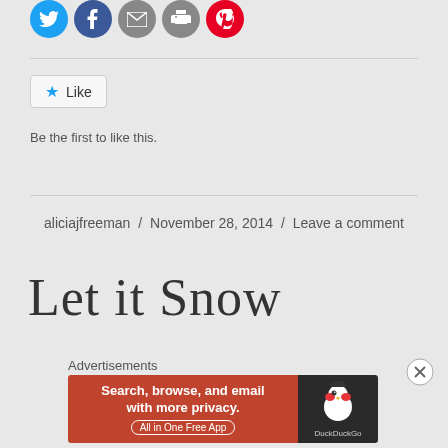[Figure (other): Social sharing icons: Twitter (blue circle), Facebook (blue circle), email (grey circle), print (grey circle), Pinterest (red circle)]
Like
Be the first to like this.
aliciajfreeman / November 28, 2014 / Leave a comment
Let it Snow
Advertisements
[Figure (other): DuckDuckGo advertisement banner: orange/red left panel reading 'Search, browse, and email with more privacy. All in One Free App', dark right panel with DuckDuckGo duck logo]
[Figure (other): Close/dismiss button (circle with X)]